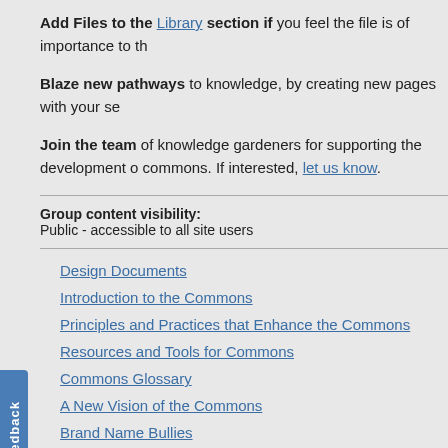Add Files to the Library section if you feel the file is of importance to th
Blaze new pathways to knowledge, by creating new pages with your se
Join the team of knowledge gardeners for supporting the development o commons. If interested, let us know.
Group content visibility:
Public - accessible to all site users
Design Documents
Introduction to the Commons
Principles and Practices that Enhance the Commons
Resources and Tools for Commons
Commons Glossary
A New Vision of the Commons
Brand Name Bullies
Commons Movement Sense-Making
Commons of Health and Well-being
Political Economy of the Commons
Report of Economics and the Commons Conference 2013
Source Document
The Commons as a New/Old Paradigm for Governance, Econom